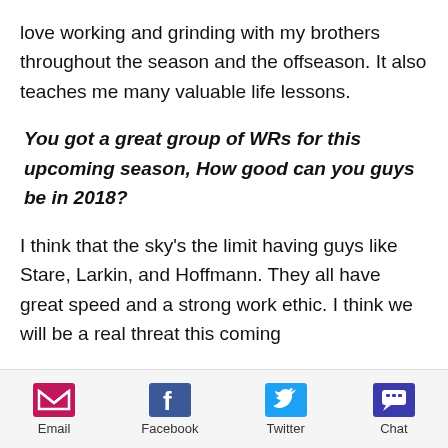love working and grinding with my brothers throughout the season and the offseason. It also teaches me many valuable life lessons.
You got a great group of WRs for this upcoming season, How good can you guys be in 2018?
I think that the sky's the limit having guys like Stare, Larkin, and Hoffmann. They all have great speed and a strong work ethic. I think we will be a real threat this coming
[Figure (infographic): Social sharing footer bar with Email, Facebook, Twitter, and Chat icons and labels]